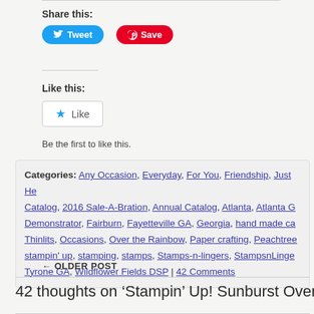Share this:
[Figure (other): Tweet button (Twitter/blue) and Save button (Pinterest/red)]
Like this:
[Figure (other): WordPress Like button with star icon]
Be the first to like this.
Categories: Any Occasion, Everyday, For You, Friendship, Just He... Catalog, 2016 Sale-A-Bration, Annual Catalog, Atlanta, Atlanta G... Demonstrator, Fairburn, Fayetteville GA, Georgia, hand made ca... Thinlits, Occasions, Over the Rainbow, Paper crafting, Peachtree... stampin' up, stamping, stamps, Stamps-n-lingers, StampsnLinge... Tyrone GA, Wildflower Fields DSP | 42 Comments
← OLDER POST
42 thoughts on 'Stampin' Up! Sunburst Over the Rainbo...